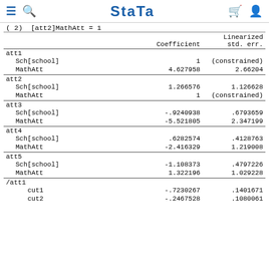Stata
( 2)  [att2]MathAtt = 1
|  | Coefficient | Linearized std. err. |
| --- | --- | --- |
| att1 |  |  |
|     Sch[school] | 1 | (constrained) |
|     MathAtt | 4.627958 | 2.66204 |
| att2 |  |  |
|     Sch[school] | 1.266576 | 1.126628 |
|     MathAtt | 1 | (constrained) |
| att3 |  |  |
|     Sch[school] | -.9240938 | .6793659 |
|     MathAtt | -5.521805 | 2.347199 |
| att4 |  |  |
|     Sch[school] | .6282574 | .4128763 |
|     MathAtt | -2.416329 | 1.219008 |
| att5 |  |  |
|     Sch[school] | -1.108373 | .4797226 |
|     MathAtt | 1.322196 | 1.029228 |
| /att1 |  |  |
|     cut1 | -.7230267 | .1401671 |
|     cut2 | -.2467528 | .1080061 |